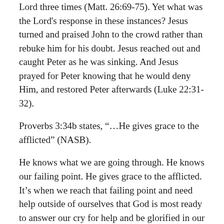Lord three times (Matt. 26:69-75). Yet what was the Lord's response in these instances? Jesus turned and praised John to the crowd rather than rebuke him for his doubt. Jesus reached out and caught Peter as he was sinking. And Jesus prayed for Peter knowing that he would deny Him, and restored Peter afterwards (Luke 22:31-32).
Proverbs 3:34b states, “…He gives grace to the afflicted” (NASB).
He knows what we are going through. He knows our failing point. He gives grace to the afflicted. It’s when we reach that failing point and need help outside of ourselves that God is most ready to answer our cry for help and be glorified in our lives for all to see. There is nowhere we can fall that He cannot catch us!
Lord, when we fail, help us to see Your grace towards us.